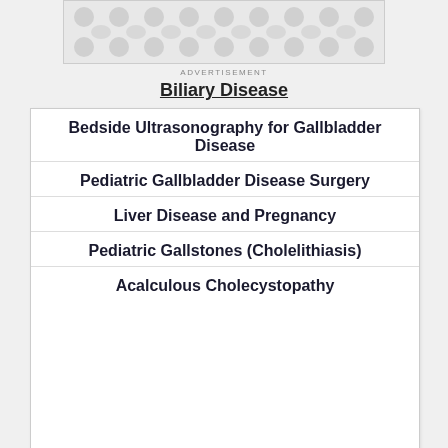[Figure (other): Advertisement banner with decorative grey pattern]
ADVERTISEMENT
Biliary Disease
Bedside Ultrasonography for Gallbladder Disease
Pediatric Gallbladder Disease Surgery
Liver Disease and Pregnancy
Pediatric Gallstones (Cholelithiasis)
Acalculous Cholecystopathy
NEWS & PERSPECTIVE
Men at Higher Risk Than Women for